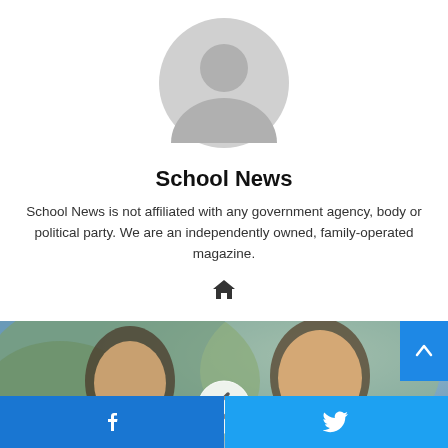[Figure (illustration): Generic grey user avatar/profile placeholder silhouette icon]
School News
School News is not affiliated with any government agency, body or political party. We are an independently owned, family-operated magazine.
[Figure (photo): Photo of two young girls smiling outdoors with trees in background, with a left navigation arrow overlay]
Facebook and Twitter social share buttons